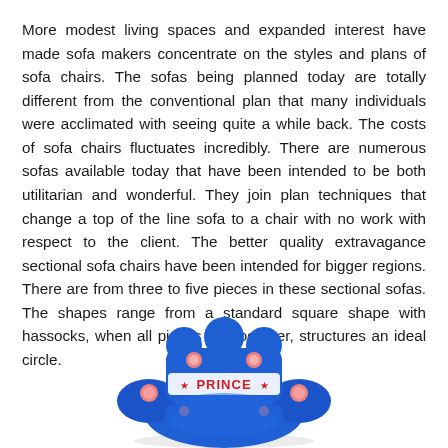More modest living spaces and expanded interest have made sofa makers concentrate on the styles and plans of sofa chairs. The sofas being planned today are totally different from the conventional plan that many individuals were acclimated with seeing quite a while back. The costs of sofa chairs fluctuates incredibly. There are numerous sofas available today that have been intended to be both utilitarian and wonderful. They join plan techniques that change a top of the line sofa to a chair with no work with respect to the client. The better quality extravagance sectional sofa chairs have been intended for bigger regions. There are from three to five pieces in these sectional sofas. The shapes range from a standard square shape with hassocks, when all pieces are together, structures an ideal circle.
[Figure (photo): A blue plush children's sofa chair shaped like a friendly character, with pink dots/buttons and a crown-shaped backrest labeled 'PRINCE' in red text.]